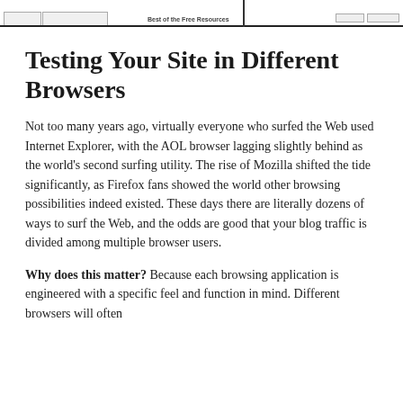Best of the Free Resources
Testing Your Site in Different Browsers
Not too many years ago, virtually everyone who surfed the Web used Internet Explorer, with the AOL browser lagging slightly behind as the world's second surfing utility. The rise of Mozilla shifted the tide significantly, as Firefox fans showed the world other browsing possibilities indeed existed. These days there are literally dozens of ways to surf the Web, and the odds are good that your blog traffic is divided among multiple browser users.
Why does this matter? Because each browsing application is engineered with a specific feel and function in mind. Different browsers will often